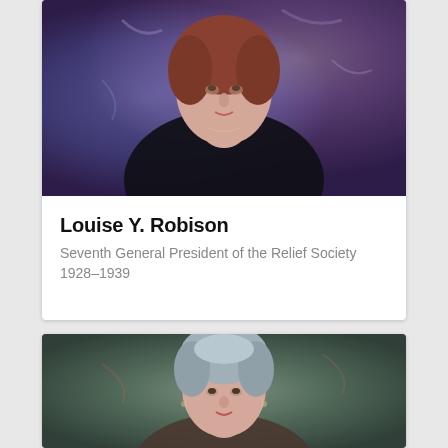[Figure (photo): Portrait painting of Louise Y. Robison, a woman in dark clothing against a purple and blue background]
Louise Y. Robison
Seventh General President of the Relief Society 1928–1939
[Figure (photo): Portrait painting of another woman with gray hair against a green-brown background]